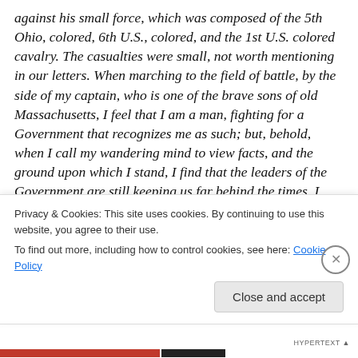against his small force, which was composed of the 5th Ohio, colored, 6th U.S., colored, and the 1st U.S. colored cavalry. The casualties were small, not worth mentioning in our letters. When marching to the field of battle, by the side of my captain, who is one of the brave sons of old Massachusetts, I feel that I am a man, fighting for a Government that recognizes me as such; but, behold, when I call my wandering mind to view facts, and the ground upon which I stand, I find that the leaders of the Government are still keeping us far behind the times. I appeal to the leaders of this great Republic to know the
Privacy & Cookies: This site uses cookies. By continuing to use this website, you agree to their use.
To find out more, including how to control cookies, see here: Cookie Policy
Close and accept